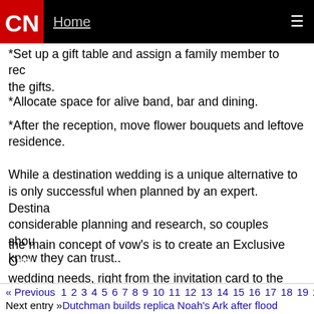CNN | Home
*Set up a gift table and assign a family member to receive the gifts.
*Allocate space for alive band, bar and dining.
*After the reception, move flower bouquets and leftover to your residence.
While a destination wedding is a unique alternative to a traditional wedding, it is only successful when planned by an expert. Destination weddings require considerable planning and research, so couples should hire a wedding planner they know they can trust..
the main concept of vow's is to create an Exclusive One Stop Shop for all wedding needs, right from the invitation card to the Honeymoon Trip, Eventually it will be the first and final destination for brides and bridegrooms with exquisite resources.
August 28, 2013 at 1:43 am |
« Previous 1 2 3 4 5 6 7 8 9 10 11 12 13 14 15 16 17 18 19 2 Next entry »Dutchman builds replica Noah's Ark after flood